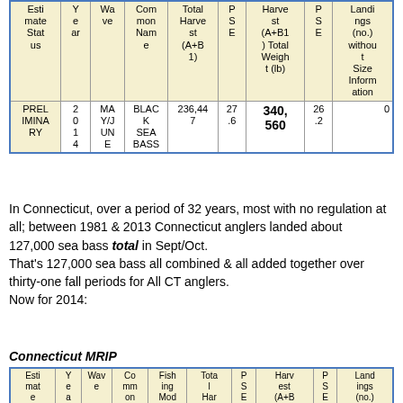| Estimate Status | Year | Wave | Common Name | Total Harvest (A+B1) | PSE | Harvest (A+B1) Total Weight (lb) | PSE | Landings (no.) without Size Information |
| --- | --- | --- | --- | --- | --- | --- | --- | --- |
| PRELIMINARY | 2014 | MAY/JUNE | BLACK SEA BASS | 236,447 | 27.6 | 340,560 | 26.2 | 0 |
In Connecticut, over a period of 32 years, most with no regulation at all; between 1981 & 2013 Connecticut anglers landed about 127,000 sea bass total in Sept/Oct. That's 127,000 sea bass all combined & all added together over thirty-one fall periods for All CT anglers. Now for 2014:
Connecticut MRIP
| Estimate Status | Year | Wave | Common Name | Fishing Mode | Total Harvest (A+ | PSE | Harvest (A+B1) Total Weig | PSE | Landings (no.) without Size |
| --- | --- | --- | --- | --- | --- | --- | --- | --- | --- |